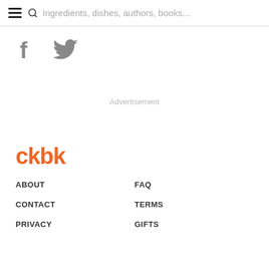Ingredients, dishes, authors, books...
[Figure (illustration): Facebook and Twitter social media icons in gray]
Advertisement
[Figure (logo): ckbk logo in orange]
ABOUT
FAQ
CONTACT
TERMS
PRIVACY
GIFTS